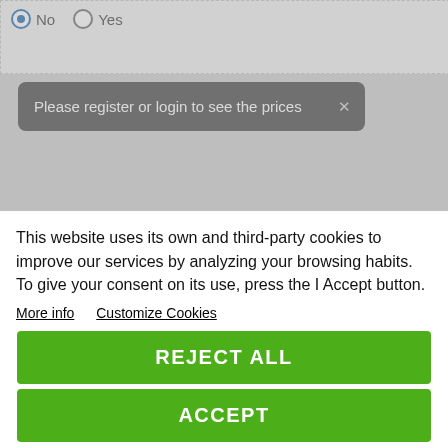[Figure (screenshot): Web page form with radio buttons labeled No (selected) and Yes, and a dark tooltip popup saying 'Please register or login to see the prices' with an X close button]
DESCRIPTION
What are the details of this product?
This website uses its own and third-party cookies to improve our services by analyzing your browsing habits. To give your consent on its use, press the I Accept button.
More info   Customize Cookies
REJECT ALL
ACCEPT